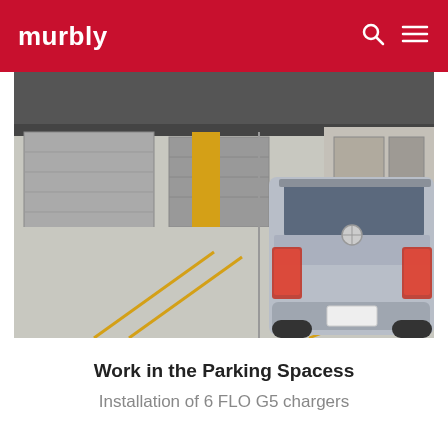murbly
[Figure (photo): Indoor parking garage showing a silver Mercedes SUV parked in a space. Yellow-painted column and yellow parking line markings visible on grey concrete floor. Garage doors and equipment in background.]
Work in the Parking Spacess
Installation of 6 FLO G5 chargers